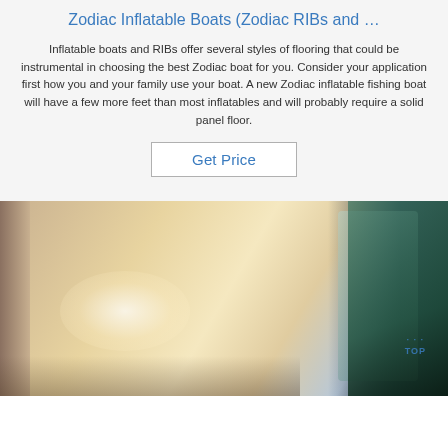Zodiac Inflatable Boats (Zodiac RIBs and …
Inflatable boats and RIBs offer several styles of flooring that could be instrumental in choosing the best Zodiac boat for you. Consider your application first how you and your family use your boat. A new Zodiac inflatable fishing boat will have a few more feet than most inflatables and will probably require a solid panel floor.
Get Price
[Figure (photo): Close-up photo of what appears to be a metallic or fiberglass boat hull surface with light reflections, and a plastic-wrapped item visible on the right side. A small blue watermark with dots and 'TOP' text appears at the bottom right.]